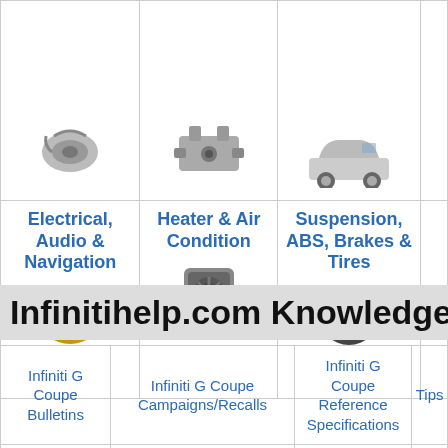[Figure (illustration): Grid of automotive categories with icons: top row shows partial images of auto parts/car. Second row shows Electrical/Audio/Navigation with speaker icon, Heater & Air Condition with fan icon, Suspension/ABS/Brakes/Tires with brake/wheel icon, and a partially visible 4th column.]
Infinitihelp.com Knowledgebase
| Infiniti G Coupe Bulletins | Infiniti G Coupe Campaigns/Recalls | Infiniti G Coupe Reference Specifications | Tips |
| --- | --- | --- | --- |
| Infiniti G Coupe | Infiniti G Coupe Campaigns/Recalls | Infiniti G Coupe Reference Specifications | Tips |
| Infiniti G Coupe... | Infiniti G C... | Infiniti G Coupe | I... |